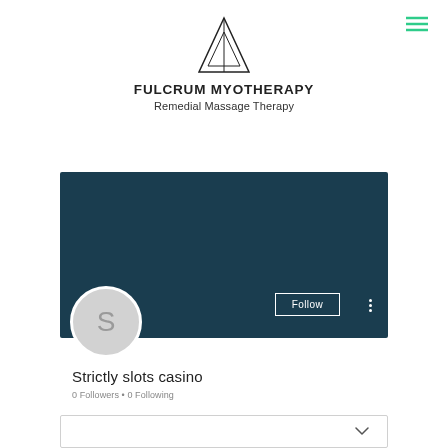[Figure (logo): Fulcrum Myotherapy triangular logo icon]
FULCRUM MYOTHERAPY
Remedial Massage Therapy
[Figure (screenshot): Social media profile section with dark teal banner, Follow button, avatar circle with letter S, username Strictly slots casino, 0 Followers, 0 Following, and a collapsed card at the bottom with a chevron]
Strictly slots casino
0 Followers • 0 Following